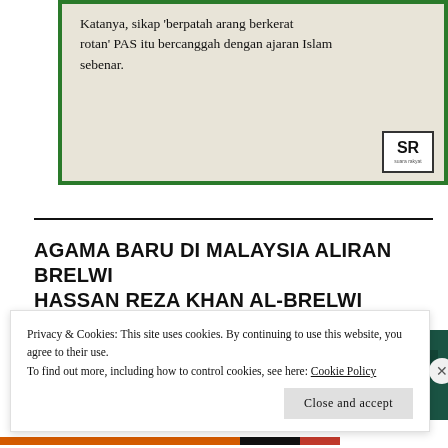[Figure (screenshot): Newspaper clipping with green border showing Malay text: Katanya, sikap 'berpatah arang berkerat rotan' PAS itu bercanggah dengan ajaran Islam sebenar. SR (Suara Rakyat) logo in bottom right.]
AGAMA BARU DI MALAYSIA ALIRAN BRELWI HASSAN REZA KHAN AL-BRELWI
[Figure (photo): Two side-by-side photos showing green-colored items or clothing, partially obscured by cookie notice banner.]
Privacy & Cookies: This site uses cookies. By continuing to use this website, you agree to their use.
To find out more, including how to control cookies, see here: Cookie Policy